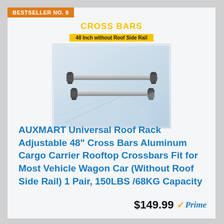BESTSELLER NO. 8
[Figure (photo): Product photo of AUXMART Universal Roof Rack cross bars mounted on top of a white car. Text overlay: CROSS BARS in yellow, and '48 Inch without Roof Side Rail' on a yellow banner.]
AUXMART Universal Roof Rack Adjustable 48" Cross Bars Aluminum Cargo Carrier Rooftop Crossbars Fit for Most Vehicle Wagon Car (Without Roof Side Rail) 1 Pair, 150LBS /68KG Capacity
$149.99 Prime